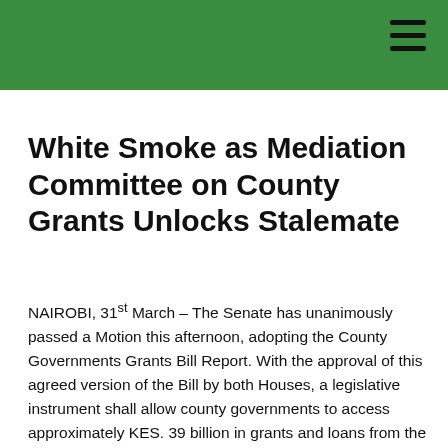White Smoke as Mediation Committee on County Grants Unlocks Stalemate
NAIROBI, 31st March – The Senate has unanimously passed a Motion this afternoon, adopting the County Governments Grants Bill Report. With the approval of this agreed version of the Bill by both Houses, a legislative instrument shall allow county governments to access approximately KES. 39 billion in grants and loans from the national government and donors for the current